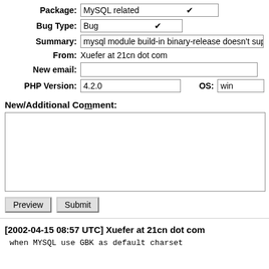Package: MySQL related
Bug Type: Bug
Summary: mysql module build-in binary-release doesn't support GBK
From: Xuefer at 21cn dot com
New email:
PHP Version: 4.2.0  OS: win
New/Additional Comment:
[2002-04-15 08:57 UTC] Xuefer at 21cn dot com
when MYSQL use GBK as default charset